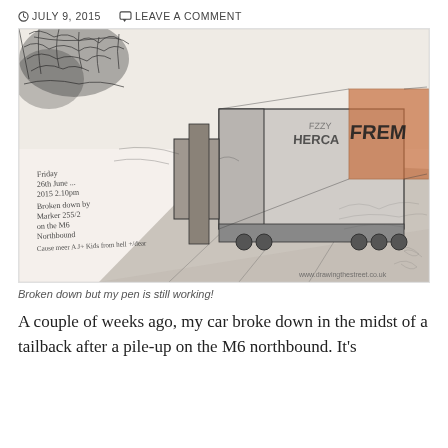JULY 9, 2015   LEAVE A COMMENT
[Figure (illustration): A detailed pen and watercolor sketch of large lorry trucks on a motorway, viewed from ground level in a traffic jam. Handwritten notes on the sketch read: 'Friday 26th June 2015 2.10pm. Broken down by Marker 255/2 on the M6 Northbound - Cause unknown. A J+ Kids from hell + dear'. Website watermark: www.drawingthestreet.co.uk. The truck has text 'FREM' visible on it.]
Broken down but my pen is still working!
A couple of weeks ago, my car broke down in the midst of a tailback after a pile-up on the M6 northbound. It's